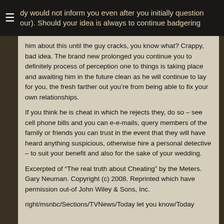dy would not inform you even after you initially question our). Should your idea is always to continue badgering
him about this until the guy cracks, you know what? Crappy, bad idea. The brand new prolonged you continue you to definitely process of perception one to things is taking place and awaiting him in the future clean as he will continue to lay for you, the fresh farther out you're from being able to fix your own relationships.
If you think he is cheat in which he rejects they, do so – see cell phone bills and you can e-e-mails, query members of the family or friends you can trust in the event that they will have heard anything suspicious, otherwise hire a personal detective – to suit your benefit and also for the sake of your wedding.
Excerpted of “The real truth about Cheating” by the Meters. Gary Neuman. Copyright (c) 2008. Reprinted which have permission out-of John Wiley & Sons, Inc.
right/msnbc/Sections/TVNews/Today let you know/Today